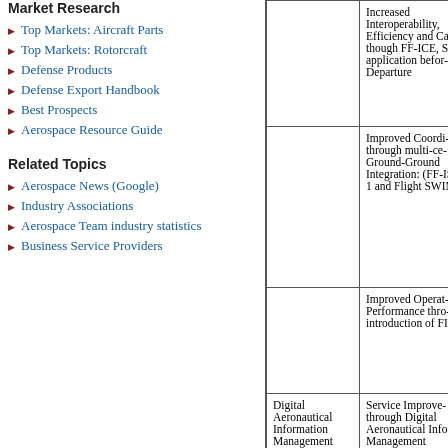Market Research
Top Markets: Aircraft Parts
Top Markets: Rotorcraft
Defense Products
Defense Export Handbook
Best Prospects
Aerospace Resource Guide
Related Topics
Aerospace News (Google)
Industry Associations
Aerospace Team industry statistics
Business Service Providers
|  |  |
| --- | --- |
|  | Increased Interoperability, Efficiency and Ca- though FF-ICE, S- application befor- Departure |
|  | Improved Coordi- through multi-ce- Ground-Ground Integration: (FF-I- Step 1 and Flight SWIM) |
|  | Improved Operat- Performance thro- introduction of F- ICE |
| Digital Aeronautical Information Management | Service Improve- through Digital Aeronautical Info- Management |